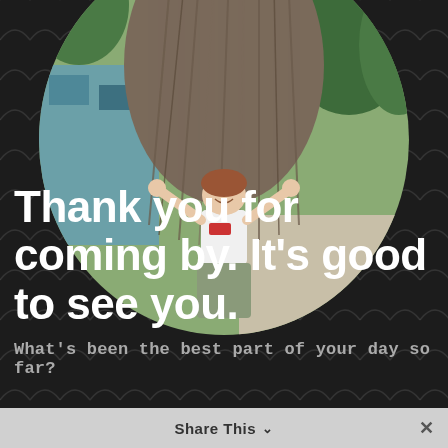[Figure (photo): A woman standing with arms raised in front of a large shaggy tree or dinosaur sculpture, outdoors. A blue building and green trees are visible in the background. The photo is displayed in a circular crop.]
Thank you for coming by. It's good to see you.
What's been the best part of your day so far?
Share This ∨  ×